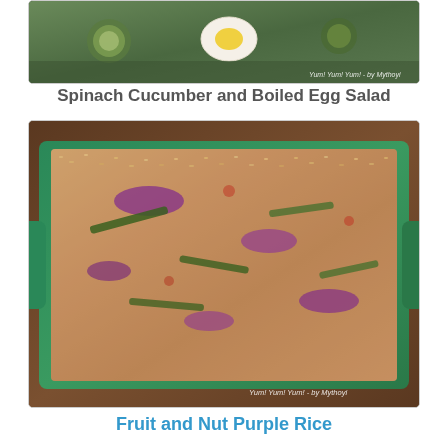[Figure (photo): Photo of Spinach Cucumber and Boiled Egg Salad in a glass dish, showing boiled egg halves and cucumber slices on a bed of spinach, with watermark 'Yum! Yum! Yum! - by Mythoyi']
Spinach Cucumber and Boiled Egg Salad
[Figure (photo): Photo of Fruit and Nut Purple Rice in a rectangular green glass dish, showing a mixed rice dish with purple cabbage, green pepper strips, and various fruits and nuts, with watermark 'Yum! Yum! Yum! - by Mythoyi']
Fruit and Nut Purple Rice
[Figure (photo): Partial photo of a baked dish in a round glass bowl, showing potato or vegetable chunks with onion in a casserole style dish]